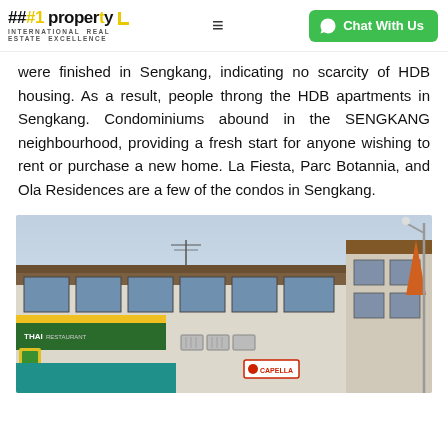##1 property INTERNATIONAL REAL ESTATE EXCELLENCE | Chat With Us
were finished in Sengkang, indicating no scarcity of HDB housing. As a result, people throng the HDB apartments in Sengkang. Condominiums abound in the SENGKANG neighbourhood, providing a fresh start for anyone wishing to rent or purchase a new home. La Fiesta, Parc Botannia, and Ola Residences are a few of the condos in Sengkang.
[Figure (photo): Street-level photo of Singapore shophouses with colourful signboards including a Thai restaurant and Capella store, air-conditioning units on the facade, and an antenna on the roof. A street lamp is visible on the right, with an orange building partially visible.]